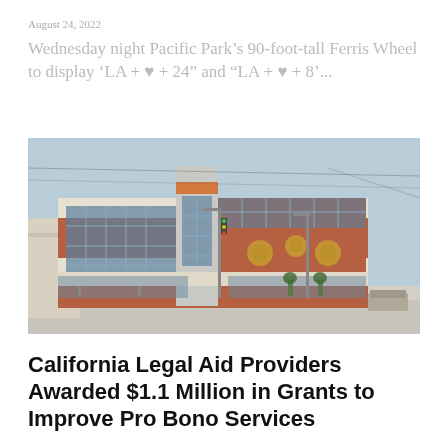August 24, 2022
Wednesday night Pacific Park’s 90-foot-tall Ferris Wheel to display ‘LA + ♥ + 24” and “LA + ♥ + 8’...
[Figure (photo): Exterior photograph of a modern community center building with red brick and glass facade, decorative circular motifs on the side wall, at a street corner intersection.]
California Legal Aid Providers Awarded $1.1 Million in Grants to Improve Pro Bono Services